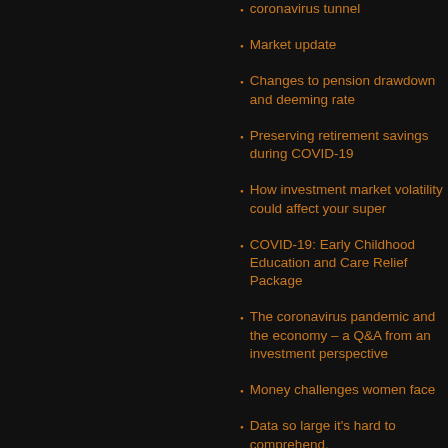coronavirus tunnel
Market update
Changes to pension drawdown and deeming rate
Preserving retirement savings during COVID-19
How investment market volatility could affect your super
COVID-19: Early Childhood Education and Care Relief Package
The coronavirus pandemic and the economy – a Q&A from an investment perspective
Money challenges women face
Data so large it's hard to comprehend.
Is coronavirus driving a recession, depression or an economic hit like no other?